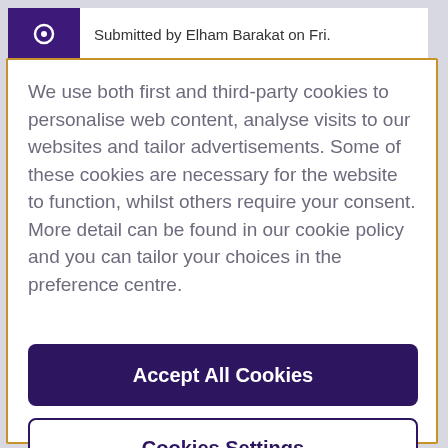Submitted by Elham Barakat on Fri.
We use both first and third-party cookies to personalise web content, analyse visits to our websites and tailor advertisements. Some of these cookies are necessary for the website to function, whilst others require your consent. More detail can be found in our cookie policy and you can tailor your choices in the preference centre.
Accept All Cookies
Cookies Settings